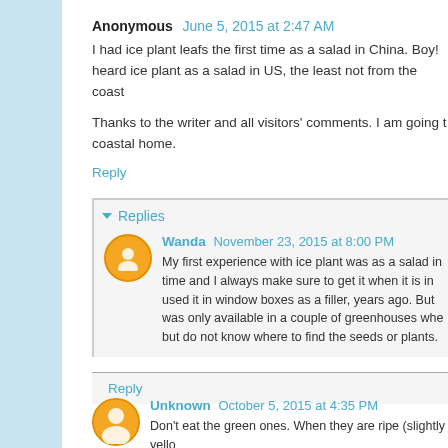Anonymous  June 5, 2015 at 2:47 AM
I had ice plant leafs the first time as a salad in China. Boy! heard ice plant as a salad in US, the least not from the coast
Thanks to the writer and all visitors' comments. I am going t coastal home.
Reply
Replies
Wanda  November 23, 2015 at 8:00 PM
My first experience with ice plant was as a salad in time and I always make sure to get it when it is in used it in window boxes as a filler, years ago. But was only available in a couple of greenhouses whe but do not know where to find the seeds or plants.
Reply
Unknown  October 5, 2015 at 4:35 PM
Don't eat the green ones. When they are ripe (slightly yello the sweet sticky goodness into your mouth! Yummy! Othe wi